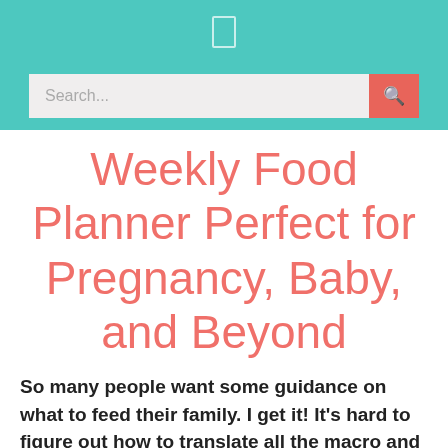[Figure (screenshot): Teal website header bar with a centered menu/navigation icon and a search bar with a salmon/red search button]
Weekly Food Planner Perfect for Pregnancy, Baby, and Beyond
So many people want some guidance on what to feed their family. I get it! It’s hard to figure out how to translate all the macro and micro-nutrients into real food. We created this food list to make sure our families get the nutrients in their diet recommended by the AAP. It has our favorite foods, so it is not an exhaustive list of